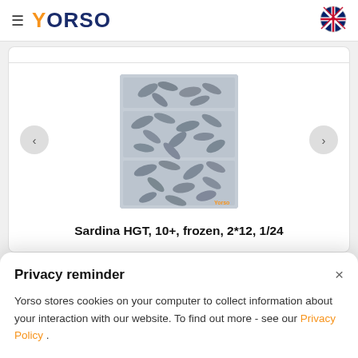YORSO
[Figure (photo): Photo of frozen sardines (Sardina HGT) arranged in plastic trays, viewed from above. Fish pieces are silver-grey colored.]
Sardina HGT, 10+, frozen, 2*12, 1/24
Privacy reminder
Yorso stores cookies on your computer to collect information about your interaction with our website. To find out more - see our Privacy Policy .